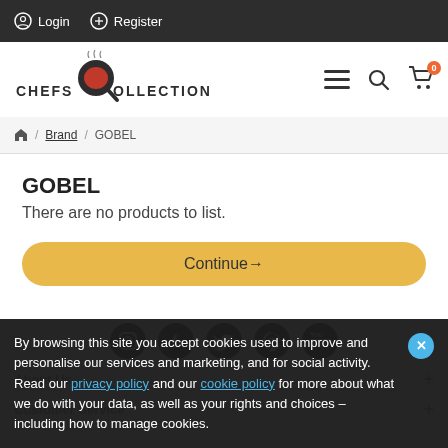Login  Register
[Figure (logo): Chefs Collection logo with stylized red and black chef hat magnifying glass icon and steam above text]
Brand / GOBEL
GOBEL
There are no products to list.
Continue →
[Figure (illustration): Social media icons row: Instagram, Facebook, Twitter, Pinterest, YouTube]
About Us +
Customer Service +
By browsing this site you accept cookies used to improve and personalise our services and marketing, and for social activity. Read our privacy policy and our cookie policy for more about what we do with your data, as well as your rights and choices – including how to manage cookies.